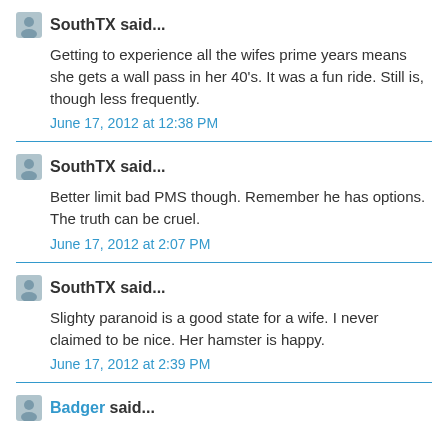SouthTX said...
Getting to experience all the wifes prime years means she gets a wall pass in her 40's. It was a fun ride. Still is, though less frequently.
June 17, 2012 at 12:38 PM
SouthTX said...
Better limit bad PMS though. Remember he has options. The truth can be cruel.
June 17, 2012 at 2:07 PM
SouthTX said...
Slighty paranoid is a good state for a wife. I never claimed to be nice. Her hamster is happy.
June 17, 2012 at 2:39 PM
Badger said...